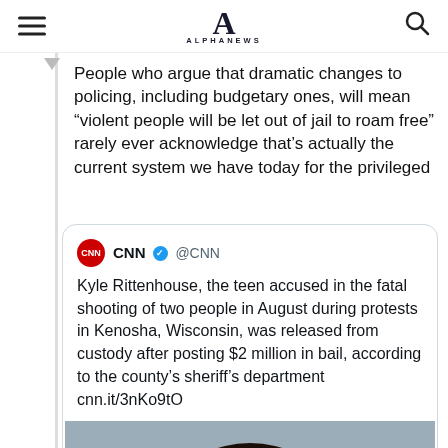ALPHANEWS
People who argue that dramatic changes to policing, including budgetary ones, will mean “violent people will be let out of jail to roam free” rarely ever acknowledge that’s actually the current system we have today for the privileged
[Figure (screenshot): Embedded CNN tweet: Kyle Rittenhouse, the teen accused in the fatal shooting of two people in August during protests in Kenosha, Wisconsin, was released from custody after posting $2 million in bail, according to the county's sheriff's department cnn.it/3nKo9tO]
[Figure (photo): Mugshot photo of Kyle Rittenhouse, a young man with dark curly hair against a grey background]